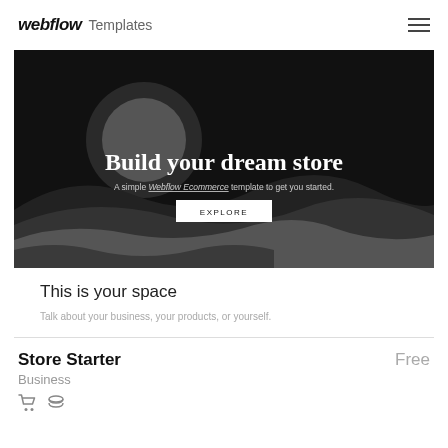webflow Templates
[Figure (screenshot): Dark hero banner for a webflow ecommerce template showing 'Build your dream store' headline, subtitle 'A simple Webflow Ecommerce template to get you started.' and an EXPLORE button, with a circular moon graphic and wavy landscape silhouettes in dark gray tones]
This is your space
Talk about your business, your products, or yourself.
Store Starter
Business
Free